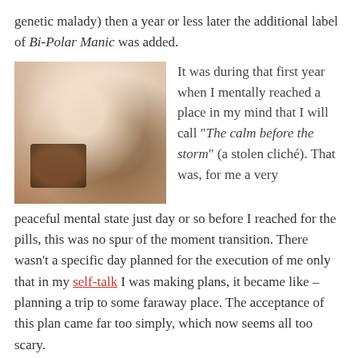genetic malady) then a year or less later the additional label of Bi-Polar Manic was added.
[Figure (photo): A photo of hands holding small white pills/tablets with a brown glass medicine bottle tipped over on a white fabric surface.]
It was during that first year when I mentally reached a place in my mind that I will call "The calm before the storm" (a stolen cliché). That was, for me a very peaceful mental state just day or so before I reached for the pills, this was no spur of the moment transition. There wasn't a specific day planned for the execution of me only that in my self-talk I was making plans, it became like – planning a trip to some faraway place. The acceptance of this plan came far too simply, which now seems all too scary.